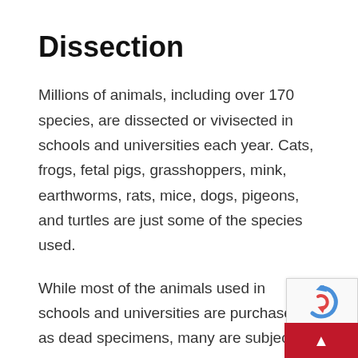Dissection
Millions of animals, including over 170 species, are dissected or vivisected in schools and universities each year. Cats, frogs, fetal pigs, grasshoppers, mink, earthworms, rats, mice, dogs, pigeons, and turtles are just some of the species used.
While most of the animals used in schools and universities are purchased as dead specimens, many are subjected to painful and lethal procedures while still alive. Animals are also obtained as byproducts of cruel industries, [continues below]
[Figure (other): reCAPTCHA widget and red button overlay in bottom-right corner]